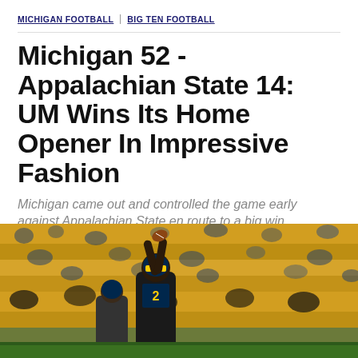MICHIGAN FOOTBALL  BIG TEN FOOTBALL
Michigan 52 - Appalachian State 14: UM Wins Its Home Opener In Impressive Fashion
Michigan came out and controlled the game early against Appalachian State en route to a big win.
By Zach Travis | Aug 30, 2014, 2:18pm CDT
[Figure (other): Share bar with Facebook, Twitter, and share icons]
[Figure (photo): Crowd photo from Michigan football game showing fans in maize and blue with a player reaching up in the foreground]